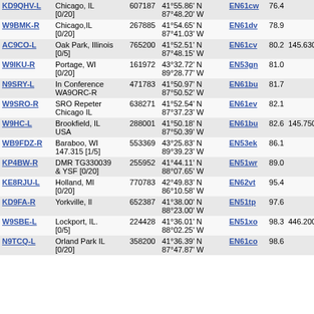| Call | Location | ID | Coordinates | Grid | Dist | Freq |
| --- | --- | --- | --- | --- | --- | --- |
| KD9QHV-L | Chicago, IL [0/20] | 607187 | 41°55.86' N 87°48.20' W | EN61cw | 76.4 |  |
| W9BMK-R | Chicago,IL [0/20] | 267885 | 41°54.65' N 87°41.03' W | EN61dv | 78.9 |  |
| AC9CO-L | Oak Park, Illinois [0/5] | 765200 | 41°52.51' N 87°48.15' W | EN61cv | 80.2 | 145.630 |
| W9IKU-R | Portage, WI [0/20] | 161972 | 43°32.72' N 89°28.77' W | EN53gn | 81.0 |  |
| N9SRY-L | In Conference WA9ORC-R | 471783 | 41°50.97' N 87°50.52' W | EN61bu | 81.7 |  |
| W9SRO-R | SRO Repeter Chicago IL | 638271 | 41°52.54' N 87°37.23' W | EN61ev | 82.1 |  |
| W9HC-L | Brookfield, IL USA | 288001 | 41°50.18' N 87°50.39' W | EN61bu | 82.6 | 145.750 |
| WB9FDZ-R | Baraboo, WI 147.315 [1/5] | 553369 | 43°25.83' N 89°39.23' W | EN53ek | 86.1 |  |
| KP4BW-R | DMR TG330039 & YSF [0/20] | 255952 | 41°44.11' N 88°07.65' W | EN51wr | 89.0 |  |
| KE8RJU-L | Holland, MI [0/20] | 770783 | 42°49.83' N 86°10.58' W | EN62vt | 95.4 |  |
| KD9FA-R | Yorkville, Il | 652387 | 41°38.00' N 88°23.00' W | EN51tp | 97.6 |  |
| W9SBE-L | Lockport, IL. [0/5] | 224428 | 41°36.01' N 88°02.25' W | EN51xo | 98.3 | 446.200 |
| N9TCQ-L | Orland Park IL [0/20] | 358200 | 41°36.39' N 87°47.87' W | EN61co | 98.6 |  |